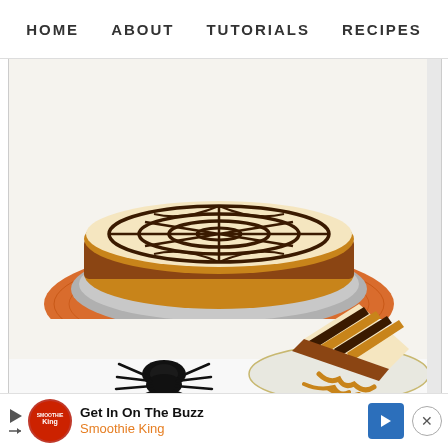HOME   ABOUT   TUTORIALS   RECIPES
[Figure (photo): A Halloween-themed cheesecake with chocolate spiderweb design on top, sitting on an orange decorative plate/mat, with a single slice on a small plate showing orange and chocolate swirled layers. A black plastic spider decoration sits nearby on a white surface.]
[Figure (screenshot): Advertisement bar: Get In On The Buzz - Smoothie King, with play button, Smoothie King logo, blue arrow button, and close (X) button]